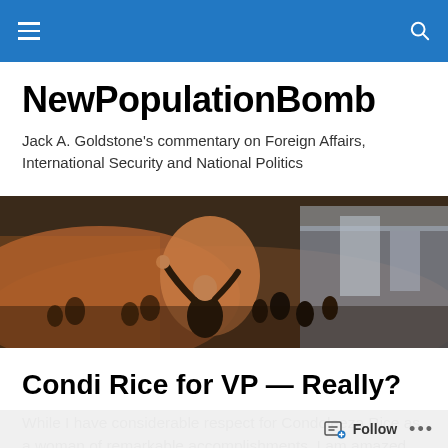NewPopulationBomb — navigation bar
NewPopulationBomb
Jack A. Goldstone's commentary on Foreign Affairs, International Security and National Politics
[Figure (photo): Crowd of people at a rally or protest, one person in center foreground with arms raised, colorful flags and banners in background]
Condi Rice for VP — Really?
While I have considerable respect for Condoleeza Rice as a woman of remarkable accomplishments, I am amazed
Follow  •••